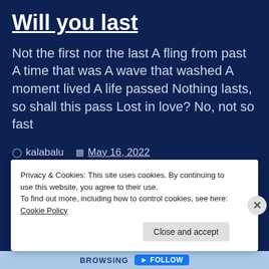Will you last
Not the first nor the last A fling from past A time that was A wave that washed A moment lived A life passed Nothing lasts, so shall this pass Lost in love? No, not so fast
kalabalu   May 16, 2022
human relationship, humor, Life, love, Picture, Poetry
humor, picture, poetry
Privacy & Cookies: This site uses cookies. By continuing to use this website, you agree to their use.
To find out more, including how to control cookies, see here: Cookie Policy
Close and accept
BROWSING